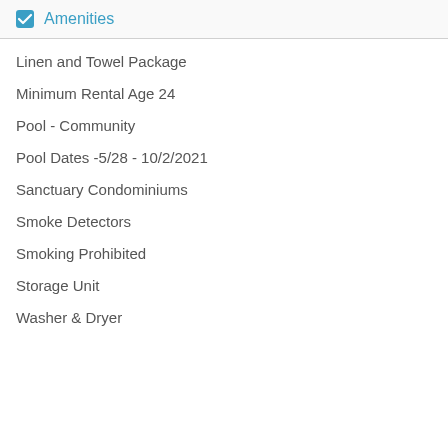Amenities
Linen and Towel Package
Minimum Rental Age 24
Pool - Community
Pool Dates -5/28 - 10/2/2021
Sanctuary Condominiums
Smoke Detectors
Smoking Prohibited
Storage Unit
Washer & Dryer